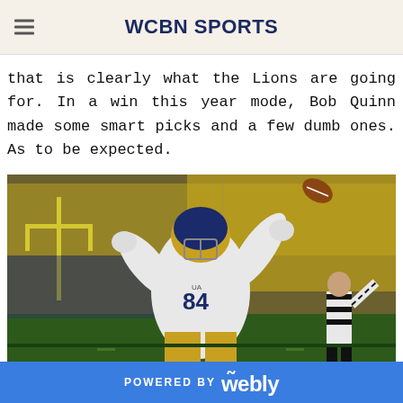WCBN SPORTS
that is clearly what the Lions are going for. In a win this year mode, Bob Quinn made some smart picks and a few dumb ones. As to be expected.
[Figure (photo): Football player wearing Notre Dame jersey number 84 with arms raised celebrating, referee visible in background, stadium crowd in background]
POWERED BY weebly